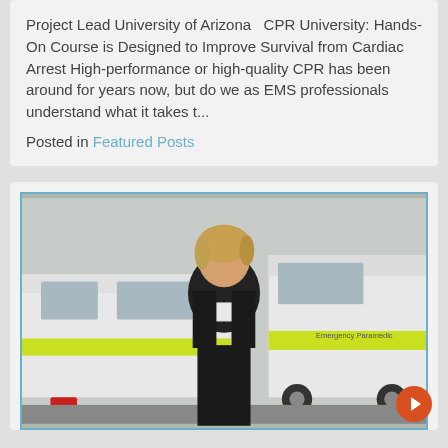Project Lead University of Arizona   CPR University: Hands-On Course is Designed to Improve Survival from Cardiac Arrest High-performance or high-quality CPR has been around for years now, but do we as EMS professionals understand what it takes t...
Posted in Featured Posts
[Figure (photo): A woman in a black blazer and white top standing in front of ambulances with yellow-green markings. The ambulances have 'Emergency Paramedic' text visible on them.]